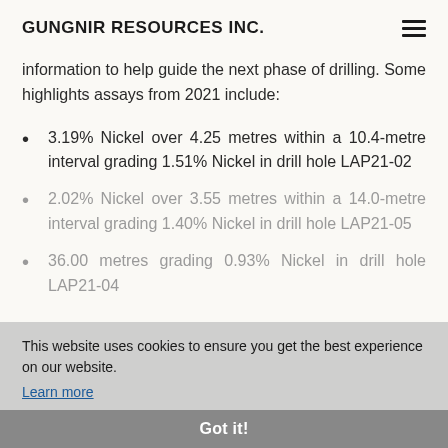GUNGNIR RESOURCES INC.
information to help guide the next phase of drilling. Some highlights assays from 2021 include:
3.19% Nickel over 4.25 metres within a 10.4-metre interval grading 1.51% Nickel in drill hole LAP21-02
2.02% Nickel over 3.55 metres within a 14.0-metre interval grading 1.40% Nickel in drill hole LAP21-05
36.00 metres grading 0.93% Nickel in drill hole LAP21-04
This website uses cookies to ensure you get the best experience on our website.
Learn more
Got it!